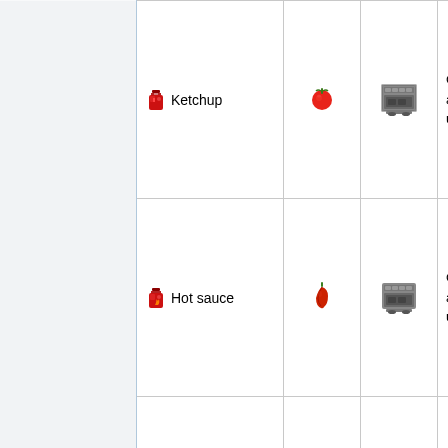|  | Item | Ingredient | Machine | Description |
| --- | --- | --- | --- | --- |
|  | Ketchup | 🍅 | [machine] | Condiment that can be added to any food making it more. Contains units of naturally... ketchup... |
|  | Hot sauce | 🌶️ | [machine] | Condiment that can be added to any food making it more. Contains units of capsaic... |
|  | Cold sauce | [blue chili] | [machine] | Condiment that can be added to any food making it more. |